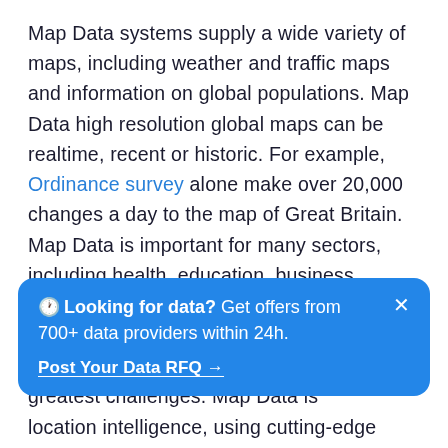Map Data systems supply a wide variety of maps, including weather and traffic maps and information on global populations. Map Data high resolution global maps can be realtime, recent or historic. For example, Ordinance survey alone make over 20,000 changes a day to the map of Great Britain. Map Data is important for many sectors, including health, education, business, manufacturing and insurance. Building a digital representation of reality that is always accurate and fresh is one of Map Data 's greatest challenges. Map Data is
[Figure (other): Blue promotional banner overlay: '🕐 Looking for data? Get offers from 700+ data providers within 24h.' with a close button (×) and a 'Post Your Data RFQ →' link.]
location intelligence, using cutting-edge